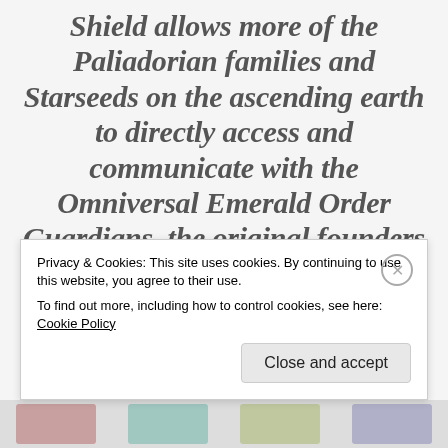Shield allows more of the Paliadorian families and Starseeds on the ascending earth to directly access and communicate with the Omniversal Emerald Order Guardians, the original founders and architects of the Interdimensional Free World Councils. Many of us on the earth
Privacy & Cookies: This site uses cookies. By continuing to use this website, you agree to their use.
To find out more, including how to control cookies, see here: Cookie Policy